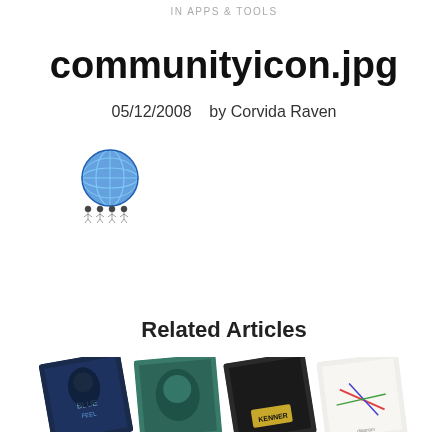IN APPS & TOOLS
communityicon.jpg
05/12/2008   by Corvida Raven
[Figure (illustration): Globe icon with people figures around it (community icon)]
Related Articles
[Figure (photo): Four angled/rotated book cover thumbnails shown at the bottom of the page]